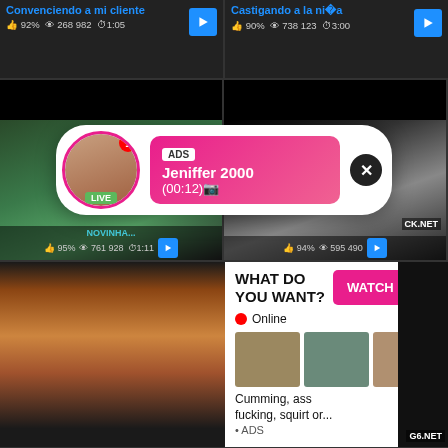[Figure (screenshot): Adult video website screenshot with thumbnails and popup ads]
Convenciendo a mi cliente 92% 268 982 1:05
Castigando a la ni�a 90% 738 123 3:00
NOVINHA... 95% 761 928 1:11
94% 595 490
ADS Jeniffer 2000 (00:12)�
WHAT DO YOU WANT? WATCH Online Cumming, ass fucking, squirt or... ADS
Thal�a puta Badon
Sampling a hard jack